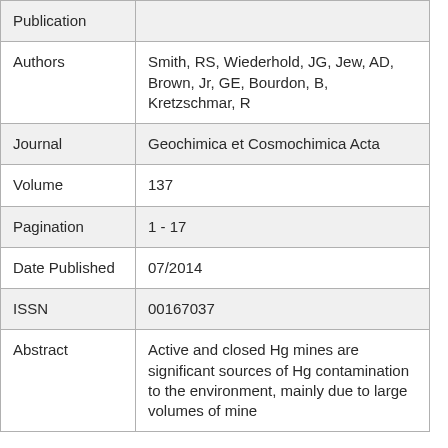| Field | Value |
| --- | --- |
| Publication |  |
| Authors | Smith, RS, Wiederhold, JG, Jew, AD, Brown, Jr, GE, Bourdon, B, Kretzschmar, R |
| Journal | Geochimica et Cosmochimica Acta |
| Volume | 137 |
| Pagination | 1 - 17 |
| Date Published | 07/2014 |
| ISSN | 00167037 |
| Abstract | Active and closed Hg mines are significant sources of Hg contamination to the environment, mainly due to large volumes of mine |